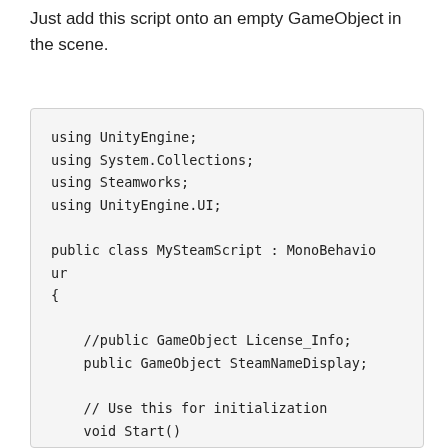Just add this script onto an empty GameObject in the scene.
using UnityEngine;
using System.Collections;
using Steamworks;
using UnityEngine.UI;

public class MySteamScript : MonoBehaviour
{

    //public GameObject License_Info;
    public GameObject SteamNameDisplay;

    // Use this for initialization
    void Start()
    {